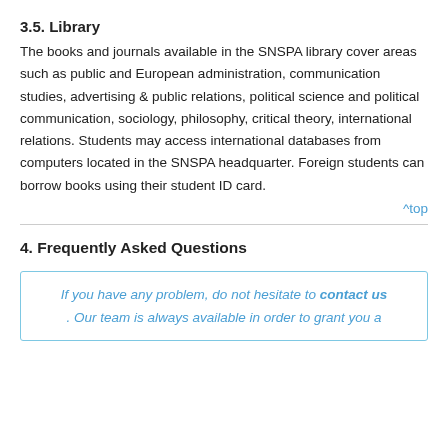3.5. Library
The books and journals available in the SNSPA library cover areas such as public and European administration, communication studies, advertising & public relations, political science and political communication, sociology, philosophy, critical theory, international relations. Students may access international databases from computers located in the SNSPA headquarter. Foreign students can borrow books using their student ID card.
^top
4. Frequently Asked Questions
If you have any problem, do not hesitate to contact us . Our team is always available in order to grant you a